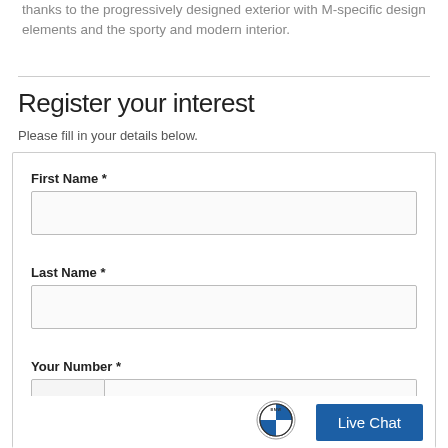thanks to the progressively designed exterior with M-specific design elements and the sporty and modern interior.
Register your interest
Please fill in your details below.
First Name *
Last Name *
Your Number *
+966
[Figure (logo): BMW circular logo with blue and white quadrants and BMW text]
Live Chat